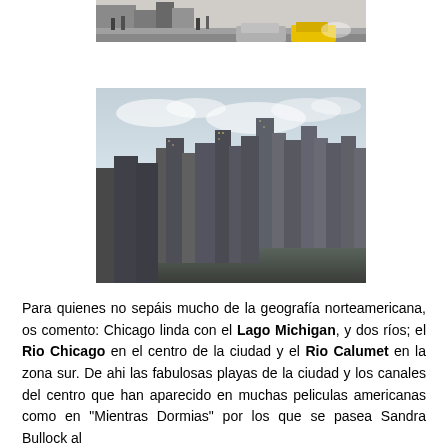[Figure (photo): Partial street scene photo showing pedestrians, buildings, and a yellow taxi on a city street (Chicago street-level view, top portion cropped).]
[Figure (photo): Aerial cityscape photo of Chicago skyline showing skyscrapers and high-rise buildings with Lake Michigan and the shoreline visible in the background under a partly cloudy sky.]
Para quienes no sepáis mucho de la geografía norteamericana, os comento: Chicago linda con el Lago Michigan, y dos ríos; el Rio Chicago en el centro de la ciudad y el Rio Calumet en la zona sur. De ahi las fabulosas playas de la ciudad y los canales del centro que han aparecido en muchas peliculas americanas como en "Mientras Dormias" por los que se pasea Sandra Bullock al